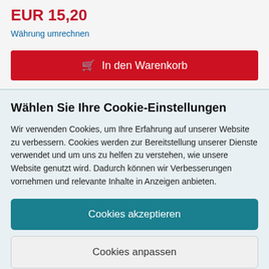EUR 15,20
Währung umrechnen
In den Warenkorb
Wählen Sie Ihre Cookie-Einstellungen
Wir verwenden Cookies, um Ihre Erfahrung auf unserer Website zu verbessern. Cookies werden zur Bereitstellung unserer Dienste verwendet und um uns zu helfen zu verstehen, wie unsere Website genutzt wird. Dadurch können wir Verbesserungen vornehmen und relevante Inhalte in Anzeigen anbieten.
Cookies akzeptieren
Cookies anpassen